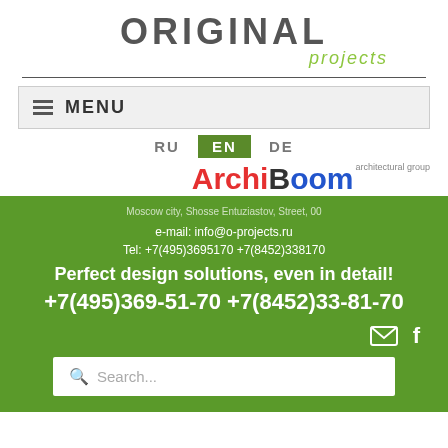[Figure (logo): Original Projects logo — 'ORIGINAL' in bold grey letters, 'projects' in italic green below-right]
[Figure (logo): ArchiBoom architectural group logo — 'Archi' in red bold, 'Boom' in dark/blue bold, 'architectural group' in small grey text top right]
MENU
RU  EN  DE
e-mail: info@o-projects.ru
Tel: +7(495)3695170 +7(8452)338170
Perfect design solutions, even in detail!
+7(495)369-51-70 +7(8452)33-81-70
Search...